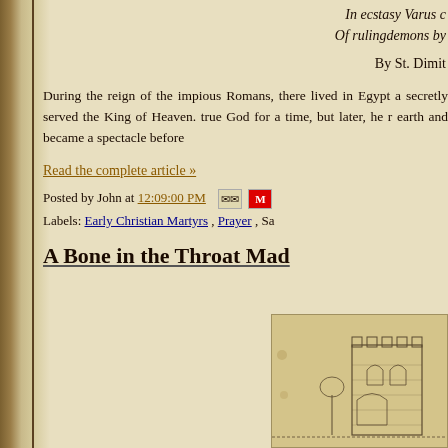In ecstasy Varus c
Of rulingdemons by
By St. Dimit
During the reign of the impious Romans, there lived in Egypt a secretly served the King of Heaven. true God for a time, but later, he r earth and became a spectacle before
Read the complete article »
Posted by John at 12:09:00 PM
Labels: Early Christian Martyrs , Prayer , Sa
A Bone in the Throat Mad
[Figure (photo): Sketch illustration of a medieval castle tower]